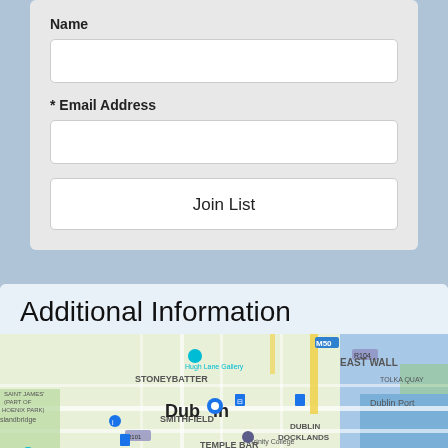Name
* Email Address
Join List
Additional Information
[Figure (map): Google Maps view of Dublin city centre showing landmarks including Hugh Lane Gallery, Stoneybatter, Smithfield, Temple Bar, Dublin Docklands, East Wall, Dublin Port, Kilmainham Gaol, Guinness Storehouse, St Patrick's Cathedral, Trinity College Dublin, Ringsend, and Stella Gardens. Map data ©2022.]
Additional Information